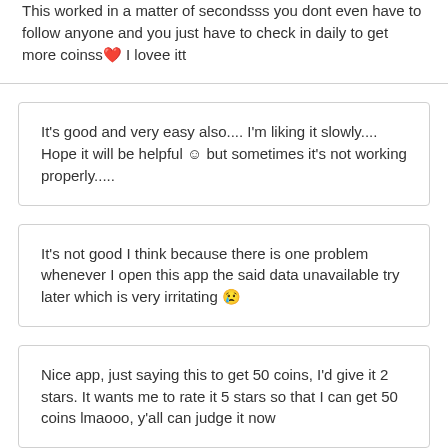This worked in a matter of secondsss you dont even have to follow anyone and you just have to check in daily to get more coinss❤️ I lovee itt
It's good and very easy also.... I'm liking it slowly.... Hope it will be helpful ☺ but sometimes it's not working properly.....
It's not good I think because there is one problem whenever I open this app the said data unavailable try later which is very irritating 😢
Nice app, just saying this to get 50 coins, I'd give it 2 stars. It wants me to rate it 5 stars so that I can get 50 coins lmaooo, y'all can judge it now